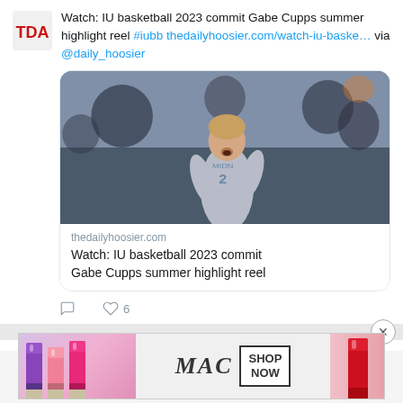[Figure (screenshot): Twitter/social media post with TDA logo, tweet text about IU basketball 2023 commit Gabe Cupps summer highlight reel, with embedded article card showing basketball player photo and thedailyhoosier.com link]
Watch: IU basketball 2023 commit Gabe Cupps summer highlight reel #iubb thedailyhoosier.com/watch-iu-baske… via @daily_hoosier
thedailyhoosier.com
Watch: IU basketball 2023 commit Gabe Cupps summer highlight reel
[Figure (photo): MAC cosmetics advertisement banner showing lipsticks with SHOP NOW button]